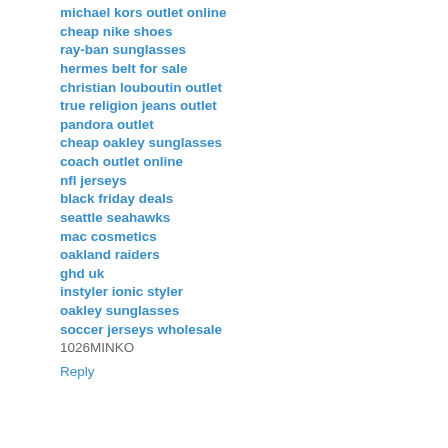michael kors outlet online
cheap nike shoes
ray-ban sunglasses
hermes belt for sale
christian louboutin outlet
true religion jeans outlet
pandora outlet
cheap oakley sunglasses
coach outlet online
nfl jerseys
black friday deals
seattle seahawks
mac cosmetics
oakland raiders
ghd uk
instyler ionic styler
oakley sunglasses
soccer jerseys wholesale
1026MINKO
Reply